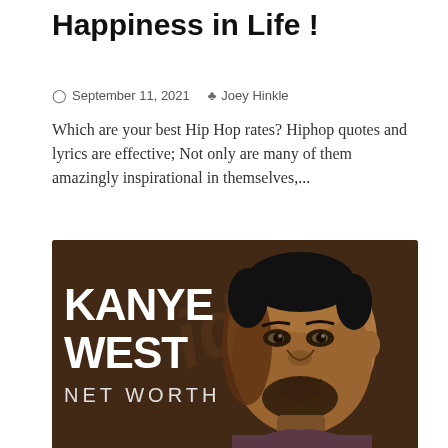Happiness in Life !
September 11, 2021   Joey Hinkle
Which are your best Hip Hop rates? Hiphop quotes and lyrics are effective; Not only are many of them amazingly inspirational in themselves,...
[Figure (illustration): Illustrated portrait of Kanye West on a dark brown background with bold white text reading 'KANYE WEST NET WORTH']